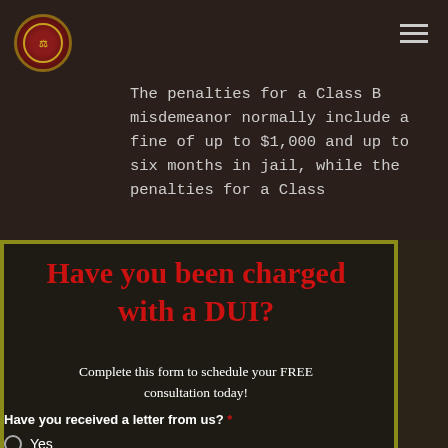[Figure (logo): Circular gold-bordered dark red law firm logo]
The penalties for a Class B misdemeanor normally include a fine of up to $1,000 and up to six months in jail, while the penalties for a Class
Have you been charged with a DUI?
Complete this form to schedule your FREE consultation today!
Have you received a letter from us? *
Yes
No
Submit